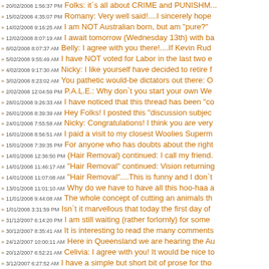20/02/2008 1:56:37 PM Folks: it`s all about CRIME and PUNISHM...
15/02/2008 4:35:07 PM Romany: Very well said!....I sincerely hope
14/02/2008 9:16:25 AM I am NOT Australian born, but am "pure?"
12/02/2008 8:07:19 AM I await tomorrow (Wednesday 13th) with ba
8/02/2008 8:07:37 AM Belly: I agree with you there!....If Kevin Rud
5/02/2008 9:55:49 AM I have NOT voted for Labor in the last two e
4/02/2008 9:17:30 AM Nicky: I like yourself have decided to retire f
3/02/2008 8:23:02 AM You pathetic would-be dictators out there: O
2/02/2008 12:04:59 PM P.A.L.E.: Why don`t you start your own We
28/01/2008 9:26:33 AM I have noticed that this thread has been "co
26/01/2008 8:39:39 AM Hey Folks! I posted this "discussion subjec
24/01/2008 7:55:58 AM Nicky: Congratulations! I think you are very
16/01/2008 8:56:51 AM I paid a visit to my closest Woolies Superm
15/01/2008 7:39:35 PM For anyone who has doubts about the right
14/01/2008 12:36:50 PM (Hair Removal) continued: I call my friend.
14/01/2008 11:46:17 AM "Hair Removal" continued: Vision returning
14/01/2008 11:07:08 AM "Hair Removal"....This is funny and I don`t
13/01/2008 11:01:10 AM Why do we have to have all this hoo-haa a
11/01/2008 9:44:08 AM The whole concept of cutting an animals th
1/01/2008 3:31:59 PM Isn`t it marvellous that today the first day of
31/12/2007 6:14:20 PM I am still waiting (rather forlornly) for some
30/12/2007 8:35:41 AM It is interesting to read the many comments
24/12/2007 10:00:11 AM Here in Queensland we are hearing the Au
20/12/2007 6:52:21 AM Celivia: I agree with you! It would be nice to
3/12/2007 6:27:52 AM I have a simple but short bit of prose for tho
2/12/2007 5:20:09 PM Agronomist and Bugsy: Boy,.... I must have
2/12/2007 12:26:14 PM Bugsy and Democritus: My example was B
2/12/2007 9:54:43 AM Boazy: You did remind me of an important fa
1/12/2007 8:51:30 AM With the rapidly escalating rate of violent cri
1/12/2007 7:50:28 AM Bugsy: They also said that Saddam Hussein
29/11/2007 9:51:32 AM VICTORIAN and NSW Governments:....SH
26/11/2007 7:40:27 AM Belly: I don`t get it?......Spare me please! I
24/11/2007 5:51:49 AM In the words of Victor Meldrew of "One Fo